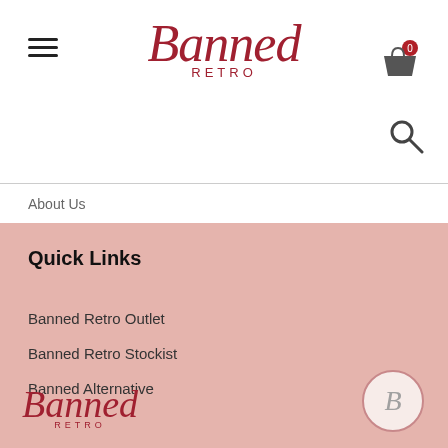[Figure (logo): Banned Retro script logo in dark red, centered at top of white header]
[Figure (other): Hamburger menu icon (three horizontal lines) at top left]
[Figure (other): Shopping bag cart icon with red circle badge showing 0, top right]
[Figure (other): Magnifying glass search icon, right side below cart]
About Us
Quick Links
Banned Retro Outlet
Banned Retro Stockist
Banned Alternative
[Figure (logo): Banned Retro script logo in dark red, bottom left of pink footer area]
[Figure (logo): Circular badge with italic B letter, bottom right of pink footer area]